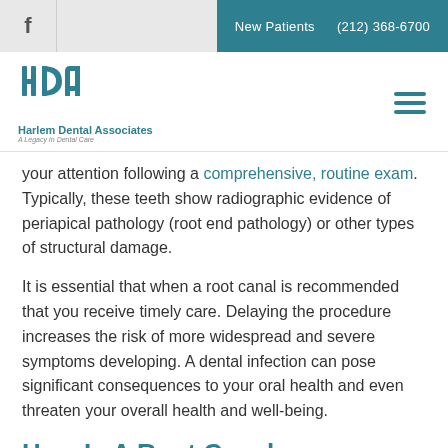f | New Patients | (212) 368-6700
[Figure (logo): Harlem Dental Associates logo with stylized letters and tagline 'A Legacy In Dental Care']
your attention following a comprehensive, routine exam. Typically, these teeth show radiographic evidence of periapical pathology (root end pathology) or other types of structural damage.
It is essential that when a root canal is recommended that you receive timely care. Delaying the procedure increases the risk of more widespread and severe symptoms developing. A dental infection can pose significant consequences to your oral health and even threaten your overall health and well-being.
How Is A Root Canal Procedure Performed?